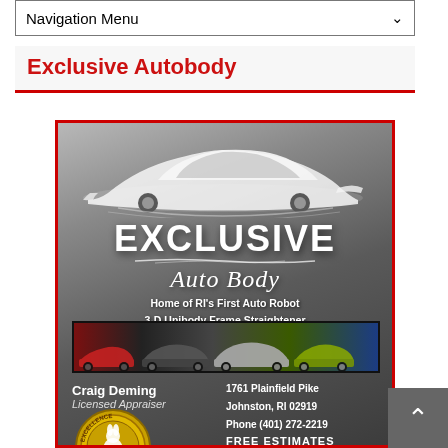Navigation Menu
Exclusive Autobody
[Figure (illustration): Exclusive Auto Body advertisement. Gray gradient background with red border. White car silhouette at top. Large text: EXCLUSIVE Auto Body. Tagline: Home of RI's First Auto Robot 3-D Unibody Frame Straightener. Strip of colorful cars. Contact info: Craig Deming, Licensed Appraiser. 1761 Plainfield Pike, Johnston, RI 02919. Phone (401) 272-2219. FREE ESTIMATES. Excellence emblem at bottom left.]